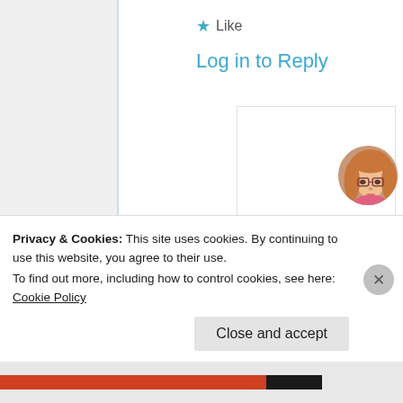★ Like
Log in to Reply
Carla Milho
26th Jun 2021 at 8:07 pm
[Figure (photo): Circular avatar photo of Carla Milho, a young woman with glasses and pink top]
You can count with my
Privacy & Cookies: This site uses cookies. By continuing to use this website, you agree to their use.
To find out more, including how to control cookies, see here: Cookie Policy
Close and accept